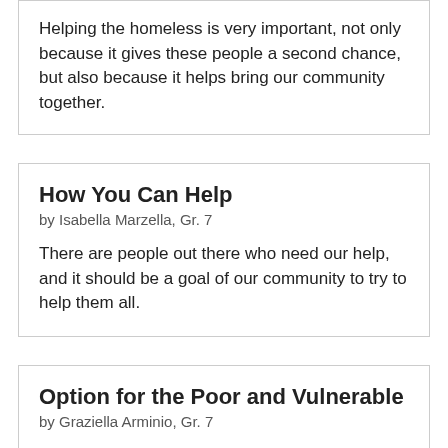Helping the homeless is very important, not only because it gives these people a second chance, but also because it helps bring our community together.
How You Can Help
by Isabella Marzella, Gr. 7
There are people out there who need our help, and it should be a goal of our community to try to help them all.
Option for the Poor and Vulnerable
by Graziella Arminio, Gr. 7
Not having a shelter is just one of the many